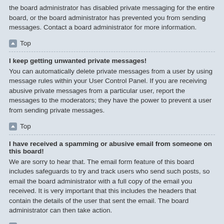the board administrator has disabled private messaging for the entire board, or the board administrator has prevented you from sending messages. Contact a board administrator for more information.
Top
I keep getting unwanted private messages!
You can automatically delete private messages from a user by using message rules within your User Control Panel. If you are receiving abusive private messages from a particular user, report the messages to the moderators; they have the power to prevent a user from sending private messages.
Top
I have received a spamming or abusive email from someone on this board!
We are sorry to hear that. The email form feature of this board includes safeguards to try and track users who send such posts, so email the board administrator with a full copy of the email you received. It is very important that this includes the headers that contain the details of the user that sent the email. The board administrator can then take action.
Top
Friends and Foes
What are my Friends and Foes lists?